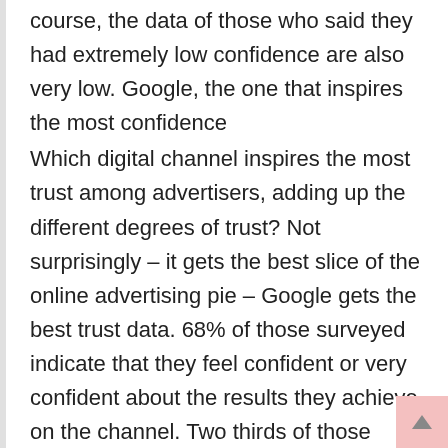course, the data of those who said they had extremely low confidence are also very low. Google, the one that inspires the most confidence
Which digital channel inspires the most trust among advertisers, adding up the different degrees of trust? Not surprisingly – it gets the best slice of the online advertising pie – Google gets the best trust data. 68% of those surveyed indicate that they feel confident or very confident about the results they achieve on the channel. Two thirds of those surveyed admit that they take a very important part of their advertising investment. After Google, Instagram and Facebook are positioned, achieving that 57 and 55% respectively of the respondents say